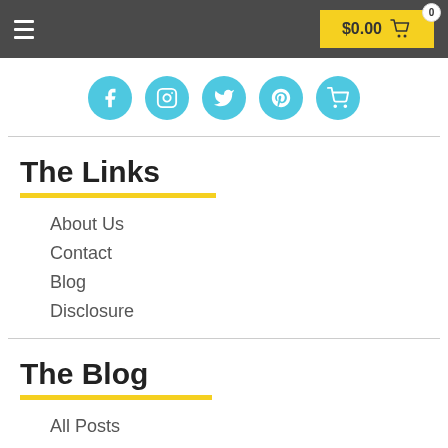$0.00  0
[Figure (infographic): Social media icons row: Facebook, Instagram, Twitter, Pinterest, Shopping cart — cyan circles with white icons]
The Links
About Us
Contact
Blog
Disclosure
The Blog
All Posts
Back to School